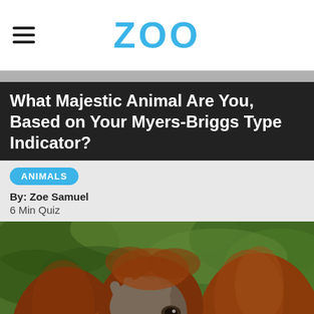ZOO
What Majestic Animal Are You, Based on Your Myers-Briggs Type Indicator?
ANIMALS
By: Zoe Samuel
6 Min Quiz
[Figure (photo): Close-up photo of an orangutan with reddish-brown fur, covering its face with one hand, with green foliage in the background.]